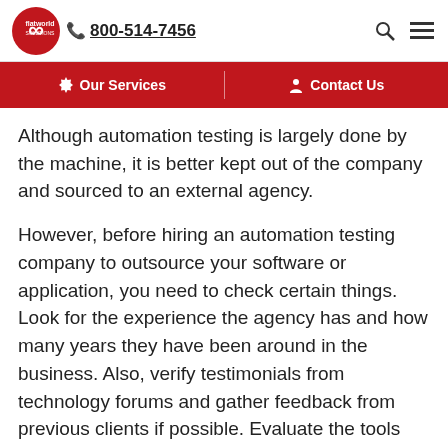flatworld solutions | 800-514-7456
Our Services | Contact Us
Although automation testing is largely done by the machine, it is better kept out of the company and sourced to an external agency.
However, before hiring an automation testing company to outsource your software or application, you need to check certain things. Look for the experience the agency has and how many years they have been around in the business. Also, verify testimonials from technology forums and gather feedback from previous clients if possible. Evaluate the tools and techniques used by the outsourced company to render test automation services. And most importantly, always negotiate the cost. The whole point of outsourcing is to save money and rid your company from accompanying